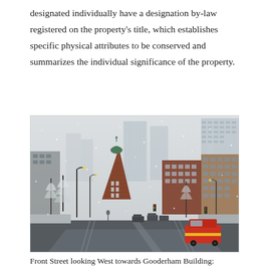designated individually have a designation by-law registered on the property's title, which establishes specific physical attributes to be conserved and summarizes the individual significance of the property.
[Figure (photo): Street-level photograph of Front Street looking West towards the Gooderham (Flatiron) Building in Toronto during a winter snowfall. The historic red-brick wedge-shaped building with a green copper dome is visible in the middle distance. Modern glass skyscrapers rise behind it in the foggy background. Street lamps, snowy trees, and vehicles including a red car on the right side of the wet reflective road are visible.]
Front Street looking West towards Gooderham Building: